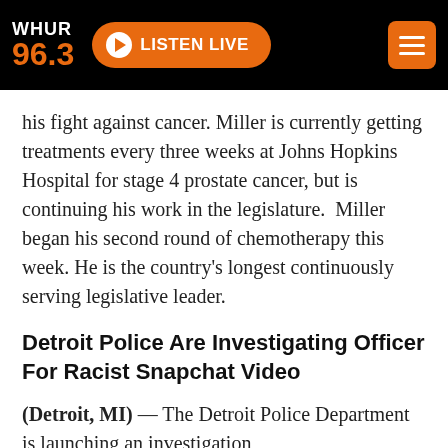WHUR 96.3 — LISTEN LIVE
his fight against cancer. Miller is currently getting treatments every three weeks at Johns Hopkins Hospital for stage 4 prostate cancer, but is continuing his work in the legislature.  Miller began his second round of chemotherapy this week. He is the country's longest continuously serving legislative leader.
Detroit Police Are Investigating Officer For Racist Snapchat Video
(Detroit, MI) — The Detroit Police Department is launching an investigation